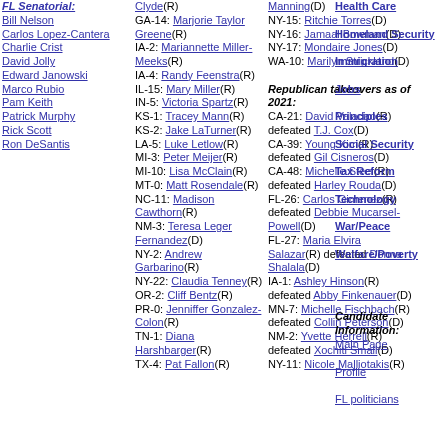FL Senatorial: Bill Nelson, Carlos Lopez-Cantera, Charlie Crist, David Jolly, Edward Janowski, Marco Rubio, Pam Keith, Patrick Murphy, Rick Scott, Ron DeSantis
Clyde(R), GA-14: Marjorie Taylor Greene(R), IA-2: Mariannette Miller-Meeks(R), IA-4: Randy Feenstra(R), IL-15: Mary Miller(R), IN-5: Victoria Spartz(R), KS-1: Tracey Mann(R), KS-2: Jake LaTurner(R), LA-5: Luke Letlow(R), MI-3: Peter Meijer(R), MI-10: Lisa McClain(R), MT-0: Matt Rosendale(R), NC-11: Madison Cawthorn(R), NM-3: Teresa Leger Fernandez(D), NY-2: Andrew Garbarino(R), NY-22: Claudia Tenney(R), OR-2: Cliff Bentz(R), PR-0: Jenniffer Gonzalez-Colon(R), TN-1: Diana Harshbarger(R), TX-4: Pat Fallon(R)
Manning(D), NY-15: Ritchie Torres(D), NY-16: Jamaal Bowman(D), NY-17: Mondaire Jones(D), WA-10: Marilyn Strickland(D), Republican takeovers as of 2021: CA-21: David Valadao(R) defeated T.J. Cox(D), CA-39: Young Kim(R) defeated Gil Cisneros(D), CA-48: Michelle Steel(R) defeated Harley Rouda(D), FL-26: Carlos Gimenez(R) defeated Debbie Mucarsel-Powell(D), FL-27: Maria Elvira Salazar(R) defeated Donna Shalala(D), IA-1: Ashley Hinson(R) defeated Abby Finkenauer(D), MN-7: Michelle Fischbach(R) defeated Collin Peterson(D), NM-2: Yvette Herrell(R) defeated Xochitl Small(D), NY-11: Nicole Malliotakis(R)
Health Care, Homeland Security, Immigration, Jobs, Principles, Social Security, Tax Reform, Technology, War/Peace, Welfare/Poverty
Candidate Information:
Main Page, Profile, FL politicians